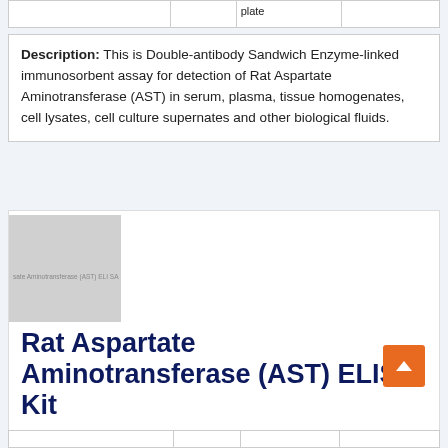|  |  | plate |  |
Description: This is Double-antibody Sandwich Enzyme-linked immunosorbent assay for detection of Rat Aspartate Aminotransferase (AST) in serum, plasma, tissue homogenates, cell lysates, cell culture supernates and other biological fluids.
[Figure (photo): Product image placeholder for Rat Aspartate Aminotransferase (AST) ELISA Kit showing a gray square with faint text overlay]
Rat Aspartate Aminotransferase (AST) ELISA Kit
|  |  |  |  |